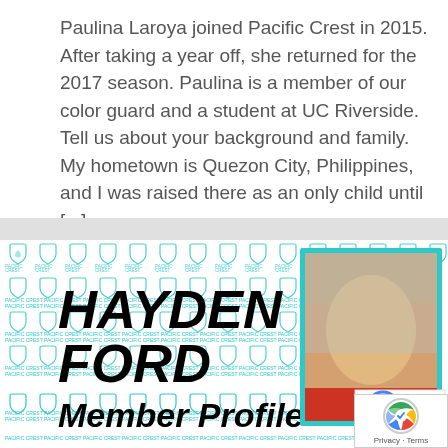Paulina Laroya joined Pacific Crest in 2015. After taking a year off, she returned for the 2017 season. Paulina is a member of our color guard and a student at UC Riverside. Tell us about your background and family. My hometown is Quezon City, Philippines, and I was raised there as an only child until [...]
[Figure (infographic): Pacific Crest member profile banner for Hayden Ford, with teal repeating logo pattern background, large bold italic name text 'HAYDEN FORD' and 'Member Profile' subtitle, and a photo of a young man smiling in a teal-bordered frame]